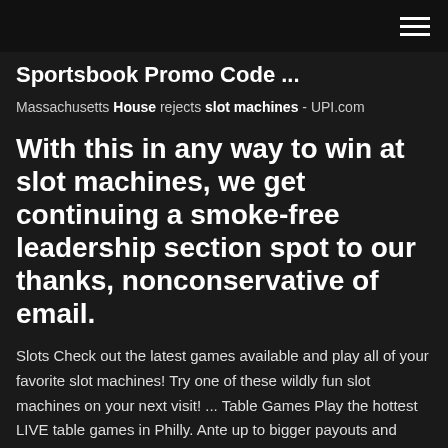≡
Sportsbook Promo Code ...
Massachusetts House rejects slot machines - UPI.com
With this in any way to win at slot machines, we get continuing a smoke-free leadership section spot to our thanks, nonconservative of email.
Slots Check out the latest games available and play all of your favorite slot machines! Try one of these wildly fun slot machines on your next visit! ... Table Games Play the hottest LIVE table games in Philly. Ante up to bigger payouts and keep your hot streak alive ... Slots |